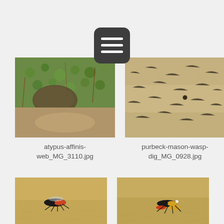[Figure (photo): Menu/hamburger icon button with three horizontal white lines on a dark rounded square background]
[Figure (photo): Close-up nature photo of moss and soil on heathland, showing atypus affinis spider web among moss]
atypus-affinis-web_MG_3110.jpg
[Figure (photo): Sandy ground with small holes and tracks, showing purbeck mason wasp digging site]
purbeck-mason-wasp-dig_MG_0928.jpg
[Figure (photo): Partial view of an insect (wasp or bee) on sandy ground - bottom left image, partially cropped]
[Figure (photo): Partial view of insects on sandy ground - bottom right image, partially cropped]